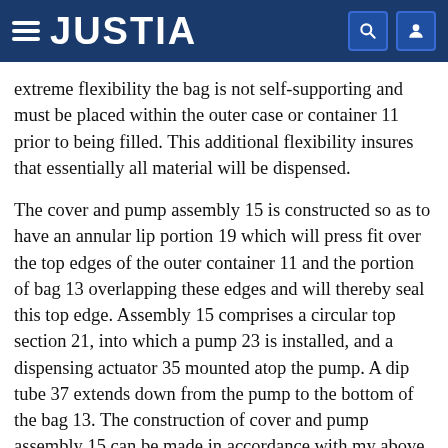JUSTIA
extreme flexibility the bag is not self-supporting and must be placed within the outer case or container 11 prior to being filled. This additional flexibility insures that essentially all material will be dispensed.
The cover and pump assembly 15 is constructed so as to have an annular lip portion 19 which will press fit over the top edges of the outer container 11 and the portion of bag 13 overlapping these edges and will thereby seal this top edge. Assembly 15 comprises a circular top section 21, into which a pump 23 is installed, and a dispensing actuator 35 mounted atop the pump. A dip tube 37 extends down from the pump to the bottom of the bag 13. The construction of cover and pump assembly 15 can be made in accordance with my above referenced U.S. Pat. No. 3,211,346.